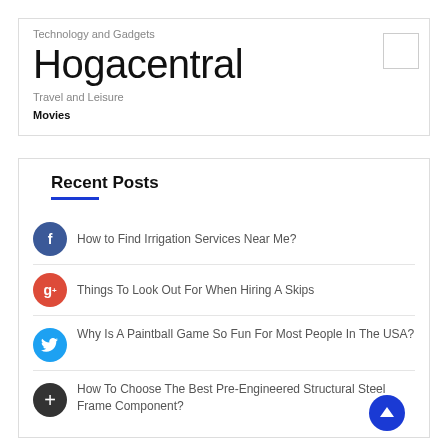Technology and Gadgets
Hogacentral
Travel and Leisure
Movies
Recent Posts
How to Find Irrigation Services Near Me?
Things To Look Out For When Hiring A Skips
Why Is A Paintball Game So Fun For Most People In The USA?
How To Choose The Best Pre-Engineered Structural Steel Frame Component?